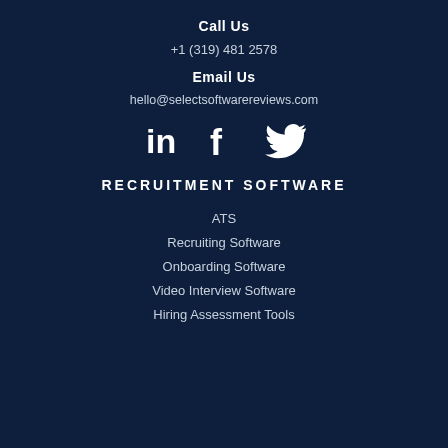Call Us
+1 (319) 481 2578
Email Us
hello@selectsoftwarereviews.com
[Figure (illustration): Social media icons: LinkedIn, Facebook, Twitter]
RECRUITMENT SOFTWARE
ATS
Recruiting Software
Onboarding Software
Video Interview Software
Hiring Assessment Tools